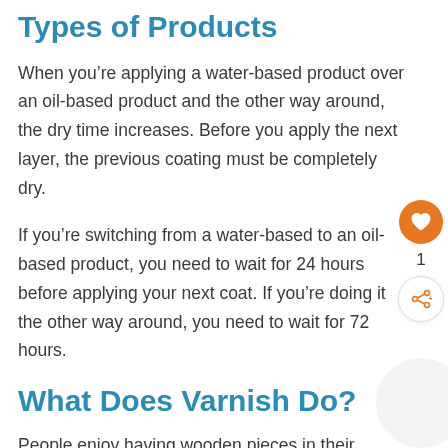Types of Products
When you’re applying a water-based product over an oil-based product and the other way around, the dry time increases. Before you apply the next layer, the previous coating must be completely dry.
If you’re switching from a water-based to an oil-based product, you need to wait for 24 hours before applying your next coat. If you’re doing it the other way around, you need to wait for 72 hours.
What Does Varnish Do?
People enjoy having wooden pieces in their